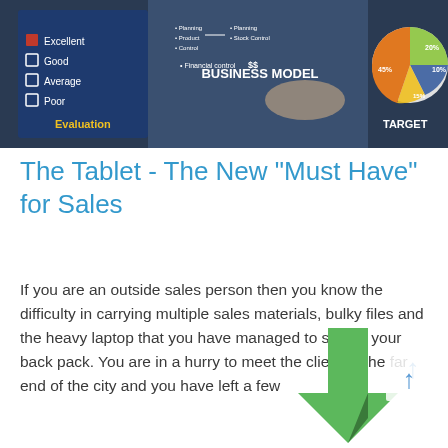[Figure (photo): Business presentation image showing a person pointing at a digital business model diagram, with a pie chart showing segments labeled 20%, 10%, 45%, and other percentages, evaluation checkboxes (Excellent, Good, Average, Poor), and text 'BUSINESS MODEL' and 'TARGET'.]
The Tablet - The New "Must Have" for Sales
If you are an outside sales person then you know the difficulty in carrying multiple sales materials, bulky files and the heavy laptop that you have managed to stuff in your back pack. You are in a hurry to meet the client at the far end of the city and you have left a few
[Figure (illustration): Green upward arrow graphic at bottom right, with a small blue upward arrow icon.]